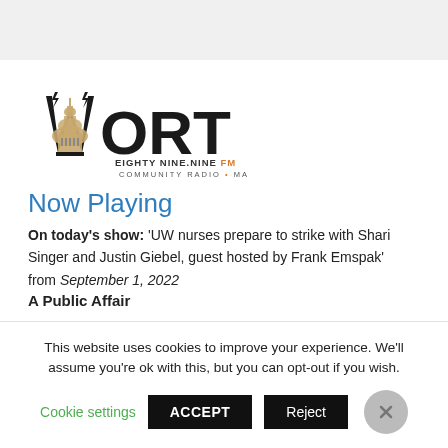[Figure (logo): WORT 89.9 FM radio station logo with stylized capitol building and lightning bolt design, text reading EIGHTY NINE.NINE FM COMMUNITY RADIO • MADISON, WI]
Now Playing
On today's show: 'UW nurses prepare to strike with Shari Singer and Justin Giebel, guest hosted by Frank Emspak'
from September 1, 2022
A Public Affair
This website uses cookies to improve your experience. We'll assume you're ok with this, but you can opt-out if you wish.
Cookie settings   ACCEPT   Reject